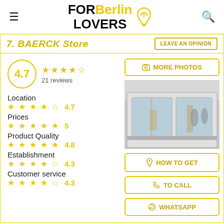FOR Berlin LOVERS
7. BAERCK Store
LEAVE AN OPINION
4.7 — 21 reviews
Location 4.7
Prices 5
Product Quality 4.8
Establishment 4.3
Customer service 4.3
[Figure (photo): Exterior storefront of BAERCK Store showing large glass windows and interior]
MORE PHOTOS
HOW TO GET
TO CALL
WHATSAPP